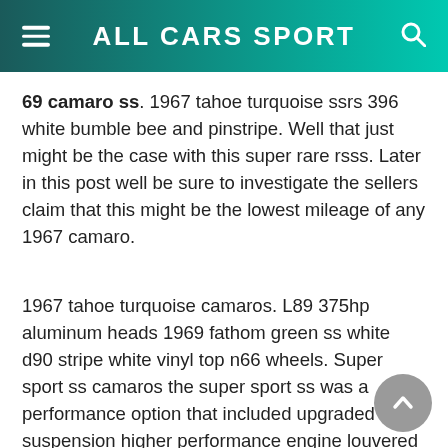ALL CARS SPORT
69 camaro ss. 1967 tahoe turquoise ssrs 396 white bumble bee and pinstripe. Well that just might be the case with this super rare rsss. Later in this post well be sure to investigate the sellers claim that this might be the lowest mileage of any 1967 camaro.
1967 tahoe turquoise camaros. L89 375hp aluminum heads 1969 fathom green ss white d90 stripe white vinyl top n66 wheels. Super sport ss camaros the super sport ss was a performance option that included upgraded suspension higher performance engine louvered ss hood and ss striping and badging.